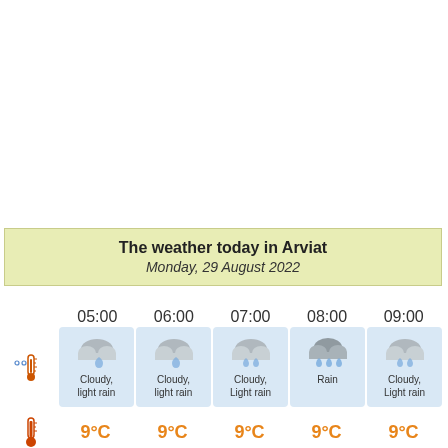The weather today in Arviat
Monday, 29 August 2022
|  | 05:00 | 06:00 | 07:00 | 08:00 | 09:00 |
| --- | --- | --- | --- | --- | --- |
| icon | Cloudy, light rain | Cloudy, light rain | Cloudy, Light rain | Rain | Cloudy, Light rain |
| thermometer | 9°C | 9°C | 9°C | 9°C | 9°C |